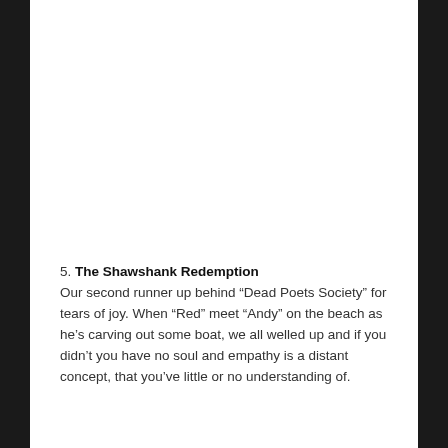5. The Shawshank Redemption
Our second runner up behind “Dead Poets Society” for tears of joy. When “Red” meet “Andy” on the beach as he’s carving out some boat, we all welled up and if you didn’t you have no soul and empathy is a distant concept, that you’ve little or no understanding of.